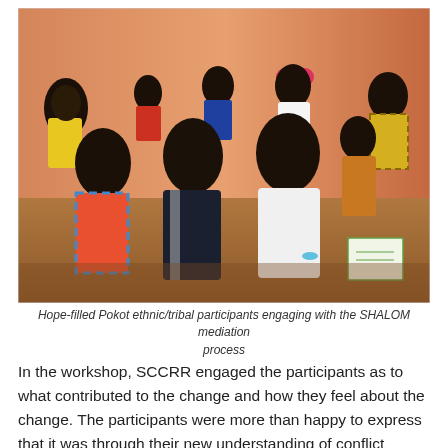[Figure (photo): Group of Pokot ethnic/tribal participants sitting together indoors, engaging with the SHALOM mediation process. Several men and women are seated on the floor and on benches, dressed in colorful traditional and casual clothing. One man wears a pink cap, another wears a dark jacket.]
Hope-filled Pokot ethnic/tribal participants engaging with the SHALOM mediation process
In the workshop, SCCRR engaged the participants as to what contributed to the change and how they feel about the change. The participants were more than happy to express that it was through their new understanding of conflict analysis that enabled them to know how to engage with the